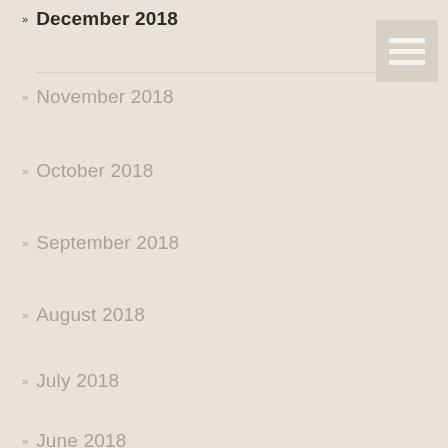December 2018
November 2018
October 2018
September 2018
August 2018
July 2018
June 2018
May 2018
April 2018